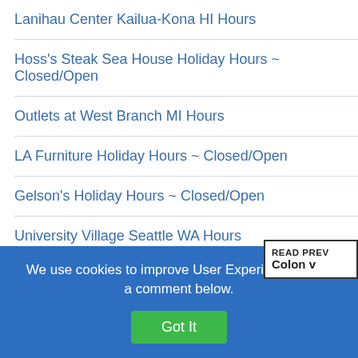Lanihau Center Kailua-Kona HI Hours
Hoss's Steak Sea House Holiday Hours ~ Closed/Open
Outlets at West Branch MI Hours
LA Furniture Holiday Hours ~ Closed/Open
Gelson's Holiday Hours ~ Closed/Open
University Village Seattle WA Hours
Maggie Moo's Holiday Hours ~ Closed/Open
Casual Male Holiday Hours ~ Closed/Open
Smith's Food & Drug Holiday Hours ~ Closed/Open
We use cookies to improve User Experience – Add a comment below.
Got It